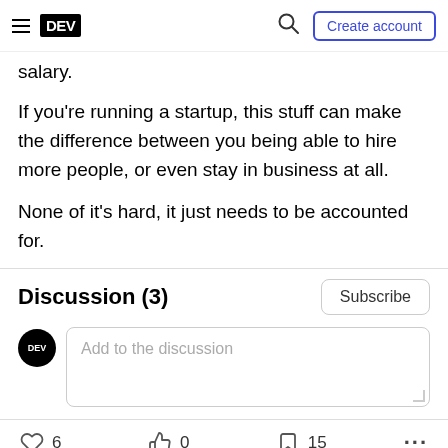DEV — Create account
salary.
If you're running a startup, this stuff can make the difference between you being able to hire more people, or even stay in business at all.
None of it's hard, it just needs to be accounted for.
Discussion (3)
Add to the discussion